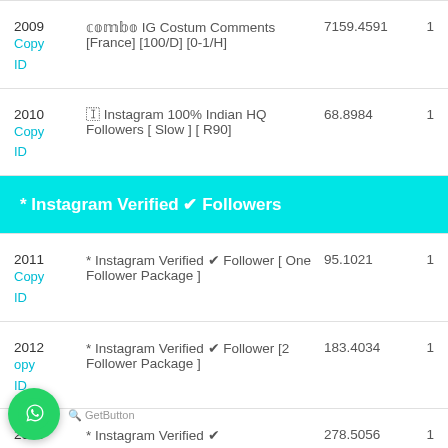| ID | Description | Price | # |
| --- | --- | --- | --- |
| 2009
Copy ID | 𝕔𝕠𝕞𝕓𝕠 IG Costum Comments [France] [100/D] [0-1/H] | 7159.4591 | 1 |
| 2010
Copy ID | 🇮 Instagram 100% Indian HQ Followers [ Slow ] [ R90] | 68.8984 | 1 |
* Instagram Verified ✔ Followers
| ID | Description | Price | # |
| --- | --- | --- | --- |
| 2011
Copy ID | * Instagram Verified ✔ Follower [ One Follower Package ] | 95.1021 | 1 |
| 2012
Copy ID | * Instagram Verified ✔ Follower [2 Follower Package ] | 183.4034 | 1 |
| 2013 | * Instagram Verified ✔ | 278.5056 | 1 |